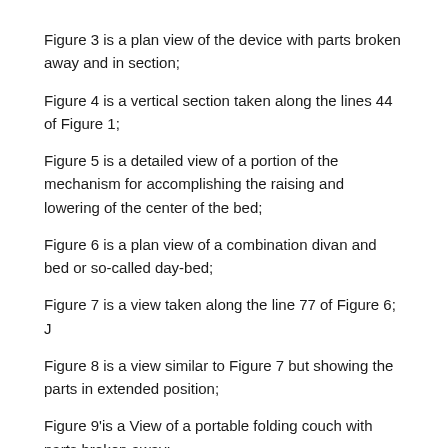Figure 3 is a plan view of the device with parts broken away and in section;
Figure 4 is a vertical section taken along the lines 44 of Figure 1;
Figure 5 is a detailed view of a portion of the mechanism for accomplishing the raising and lowering of the center of the bed;
Figure 6 is a plan view of a combination divan and bed or so-called day-bed;
Figure 7 is a view taken along the line 77 of Figure 6; J
Figure 8 is a view similar to Figure 7 but showing the parts in extended position;
Figure 9'is a View of a portable folding couch with parts broken away;
Figure 10 shows the couch in folded positiogll in which form it is most easily carried; an
1 1 Figures 11 to 15 show the bed in use and the various